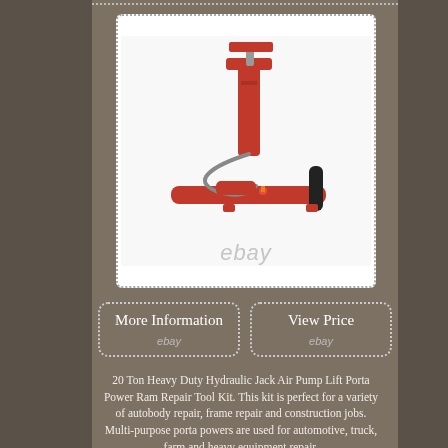[Figure (photo): Red 20 Ton Heavy Duty Hydraulic Jack Air Pump with hose and handle, shown on white background with 'ebay' watermark]
More Information
ebay
View Price
ebay
20 Ton Heavy Duty Hydraulic Jack Air Pump Lift Porta Power Ram Repair Tool Kit. This kit is perfect for a variety of autobody repair, frame repair and construction jobs. Multi-purpose porta powers are used for automotive, truck, farm and heavy equipment repair.